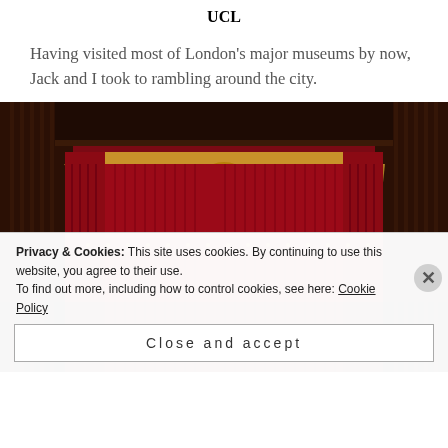UCL
Having visited most of London's major museums by now, Jack and I took to rambling around the city.
[Figure (photo): Interior of an ornate theatre showing red velvet curtains with gold fringe swags, a royal coat of arms above the stage, and dark wood panelling on the sides.]
Privacy & Cookies: This site uses cookies. By continuing to use this website, you agree to their use.
To find out more, including how to control cookies, see here: Cookie Policy
Close and accept